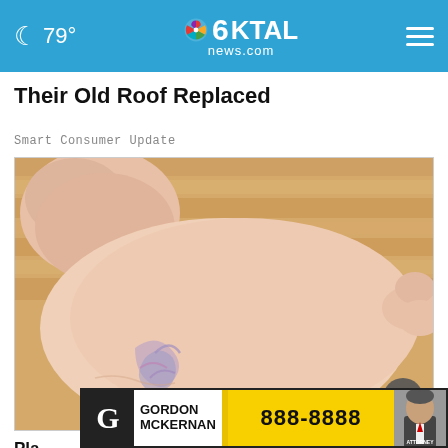🌙 79° | 6KTAL news.com
Their Old Roof Replaced
Smart Consumer Update
[Figure (photo): Close-up photograph of a human foot/ankle held by a hand, showing visible veins and skin details, on a wooden floor background.]
Pla... Hey Had... g...
[Figure (other): Advertisement banner for Gordon McKernan law firm with phone number 888-8888 and photo of attorney.]